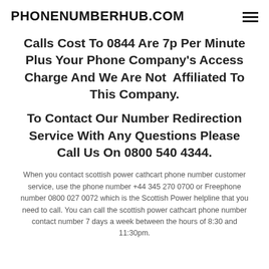PHONENUMBERHUB.COM
Calls Cost To 0844 Are 7p Per Minute Plus Your Phone Company's Access Charge And We Are Not Affiliated To This Company.
To Contact Our Number Redirection Service With Any Questions Please Call Us On 0800 540 4344.
When you contact scottish power cathcart phone number customer service, use the phone number +44 345 270 0700 or Freephone number 0800 027 0072 which is the Scottish Power helpline that you need to call. You can call the scottish power cathcart phone number contact number 7 days a week between the hours of 8:30 and 11:30pm.